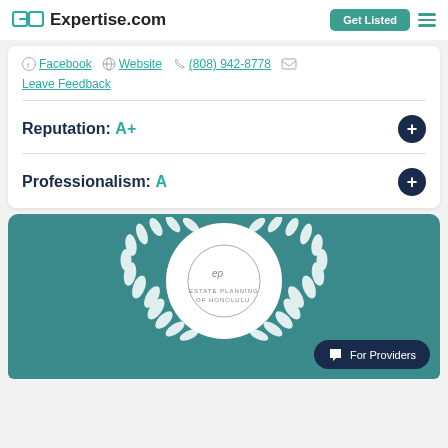Expertise.com
Facebook  Website  (808) 942-8778
Leave Feedback
Reputation:  A+
Professionalism:  A
[Figure (logo): Estate Planning of Honolulu logo inside a white circle with laurel wreath on teal background]